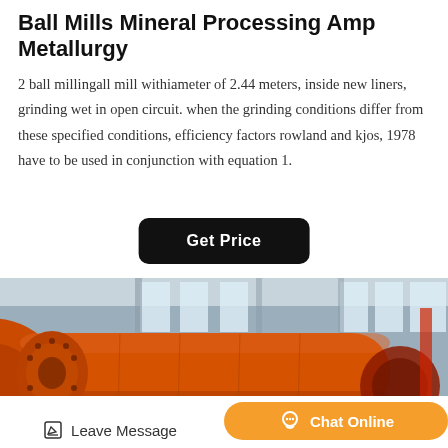Ball Mills Mineral Processing Amp Metallurgy
2 ball millingall mill withiameter of 2.44 meters, inside new liners, grinding wet in open circuit. when the grinding conditions differ from these specified conditions, efficiency factors rowland and kjos, 1978 have to be used in conjunction with equation 1.
[Figure (other): A dark rounded rectangle button with white bold text reading 'Get Price']
[Figure (photo): Industrial photograph of large orange ball mill grinding equipment inside a factory/warehouse setting. Two large cylindrical orange mill drums are visible, with industrial structure and windows in the background.]
Leave Message   Chat Online